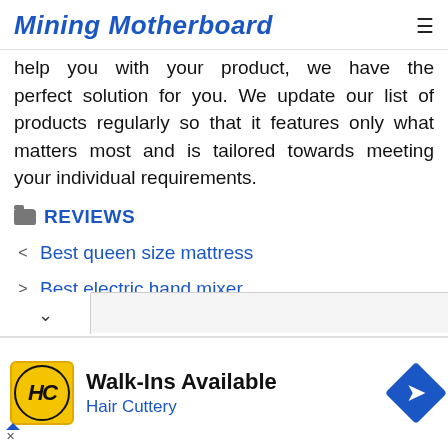Mining Motherboard
help you with your product, we have the perfect solution for you. We update our list of products regularly so that it features only what matters most and is tailored towards meeting your individual requirements.
REVIEWS
Best queen size mattress
Best electric hand mixer
[Figure (screenshot): Browser tab bar with a down chevron tab selector]
[Figure (screenshot): Advertisement banner: Walk-Ins Available - Hair Cuttery, with HC logo in yellow circle and blue diamond navigation icon]